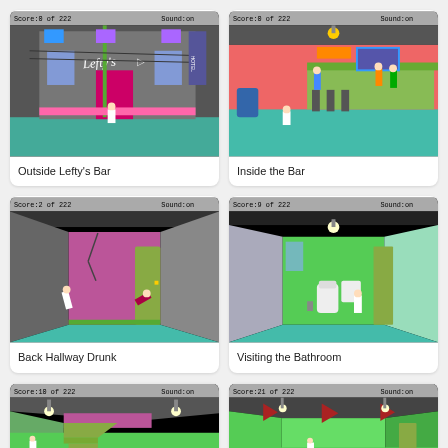[Figure (screenshot): Retro game screenshot: Outside Lefty's Bar. Score:0 of 222, Sound:on. Night street scene with power pole, pink/blue building facade with 'Lefty's' cursive sign, small character standing outside.]
Outside Lefty's Bar
[Figure (screenshot): Retro game screenshot: Inside the Bar. Score:0 of 222, Sound:on. Pink interior bar scene with patrons sitting at counter, neon signs, bartender area, small white character on green floor.]
Inside the Bar
[Figure (screenshot): Retro game screenshot: Back Hallway Drunk. Score:2 of 222, Sound:on. Dark hallway with pink/mauve wallpaper, wooden door, character stumbling on teal floor.]
Back Hallway Drunk
[Figure (screenshot): Retro game screenshot: Visiting the Bathroom. Score:9 of 222, Sound:on. Green bathroom interior with toilet, sink, character standing near fixtures.]
Visiting the Bathroom
[Figure (screenshot): Retro game screenshot (partial). Score:10 of 222, Sound:on. Green room with staircase, hanging lamps, pink wallpaper visible at top.]
[Figure (screenshot): Retro game screenshot (partial). Score:21 of 222, Sound:on. Green room with hanging flags/pennants, lamps overhead, door visible on right.]